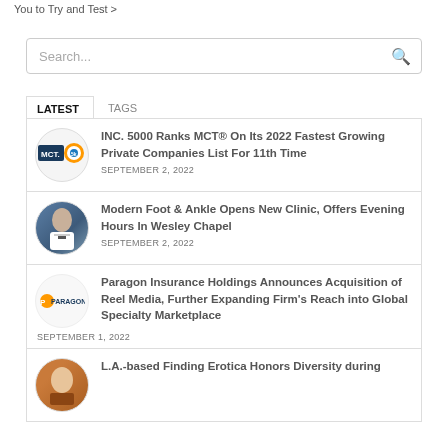You to Try and Test >
INC. 5000 Ranks MCT® On Its 2022 Fastest Growing Private Companies List For 11th Time
SEPTEMBER 2, 2022
Modern Foot & Ankle Opens New Clinic, Offers Evening Hours In Wesley Chapel
SEPTEMBER 2, 2022
Paragon Insurance Holdings Announces Acquisition of Reel Media, Further Expanding Firm's Reach into Global Specialty Marketplace
SEPTEMBER 1, 2022
L.A.-based Finding Erotica Honors Diversity during